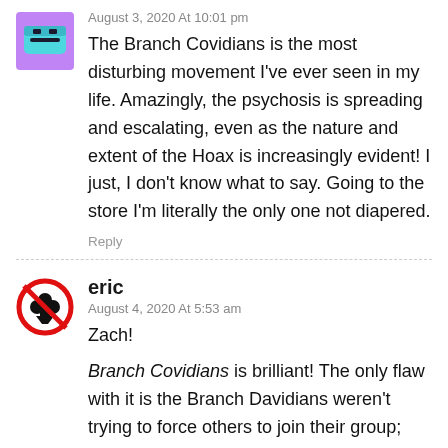August 3, 2020 At 10:01 pm
The Branch Covidians is the most disturbing movement I've ever seen in my life. Amazingly, the psychosis is spreading and escalating, even as the nature and extent of the Hoax is increasingly evident! I just, I don't know what to say. Going to the store I'm literally the only one not diapered.
Reply
eric
August 4, 2020 At 5:53 am
Zach!
Branch Covidians is brilliant! The only flaw with it is the Branch Davidians weren't trying to force others to join their group; they were weird, perhaps – but as far as I could tell they just wanted to be let alone and be among themselves, which I of